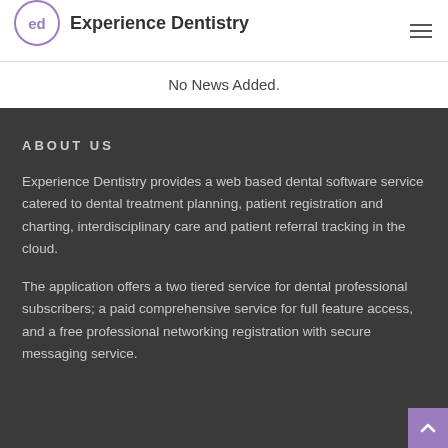Experience Dentistry
No News Added.
ABOUT US
Experience Dentistry provides a web based dental software service catered to dental treatment planning, patient registration and charting, interdisciplinary care and patient referral tracking in the cloud.
The application offers a two tiered service for dental professional subscribers; a paid comprehensive service for full feature access, and a free professional networking registration with secure messaging service.